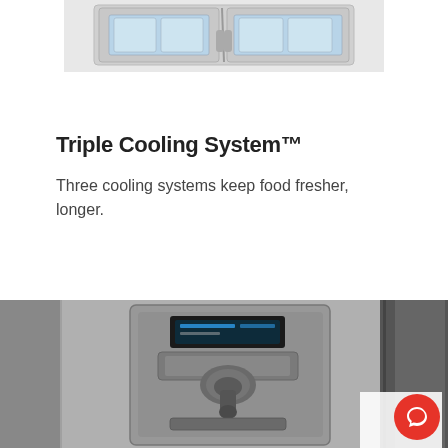[Figure (photo): Partial view of a Samsung French door refrigerator top section showing the upper freezer drawer with interior compartments, cropped at the top of the page.]
Triple Cooling System™
Three cooling systems keep food fresher, longer.
[Figure (photo): Close-up photo of a Samsung refrigerator door panel showing the water/ice dispenser with digital display control panel, stainless steel finish, partially cropped on right side.]